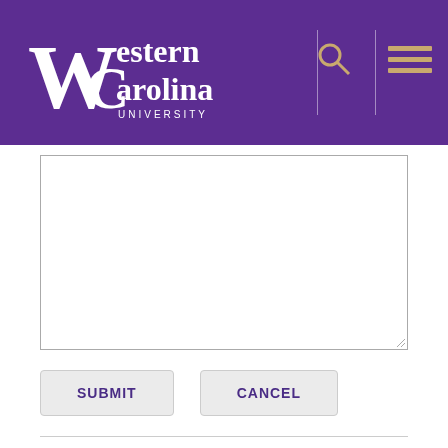[Figure (logo): Western Carolina University logo with purple background, search icon and hamburger menu icon]
[Figure (screenshot): Empty white textarea input box with resize handle]
SUBMIT
CANCEL
Related Information